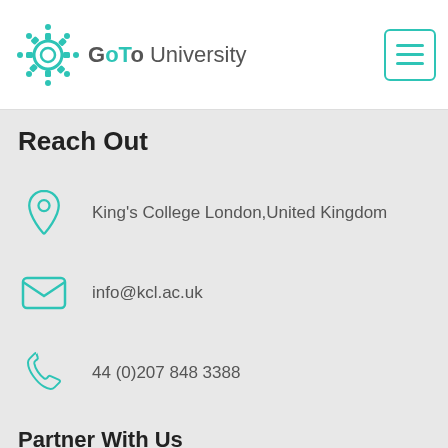[Figure (logo): GoTo University logo with teal circuit/gear icon and text]
[Figure (screenshot): Hamburger menu button with teal border]
Reach Out
King's College London,United Kingdom
info@kcl.ac.uk
44 (0)207 848 3388
Partner With Us